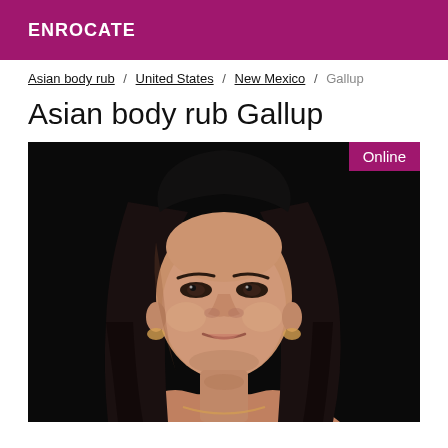ENROCATE
Asian body rub / United States / New Mexico / Gallup
Asian body rub Gallup
[Figure (photo): Portrait photo of a woman with long dark hair against a dark background, with an 'Online' badge in the top-right corner]